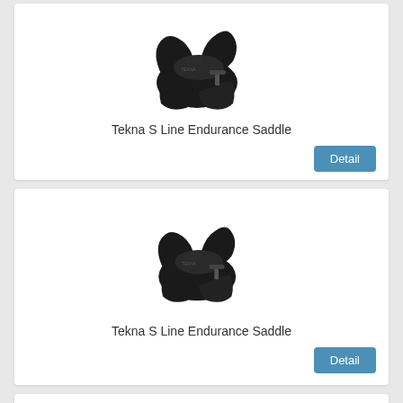[Figure (photo): Black horse saddle - Tekna S Line Endurance Saddle, product card 1]
Tekna S Line Endurance Saddle
[Figure (photo): Black horse saddle - Tekna S Line Endurance Saddle, product card 2]
Tekna S Line Endurance Saddle
[Figure (photo): Tekna S Line (partially visible, broken image placeholder)]